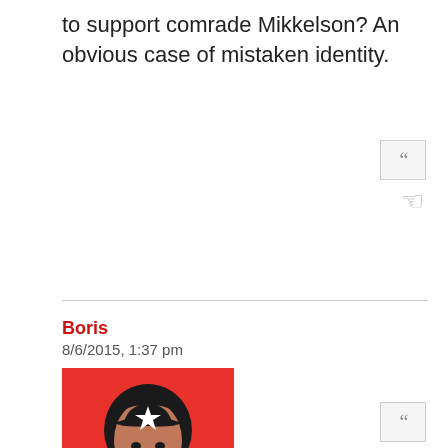to support comrade Mikkelson? An obvious case of mistaken identity.
[Figure (illustration): Red background image with black stencil-style illustration of a bearded man wearing a hat with a white star, similar to a Che Guevara style poster]
Boris
8/6/2015, 1:37 pm
It is korrekt. Moreover, Persian rug was a personal gift from Saddam Hussein.